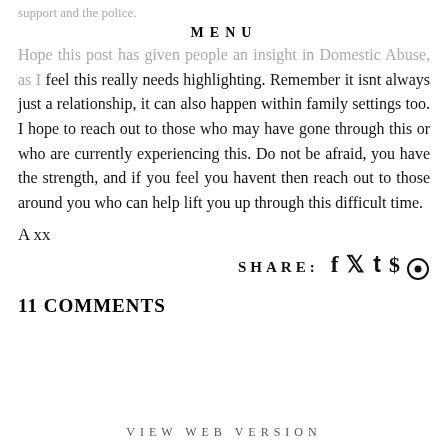support and the police.
MENU
Hope this post has given people an insight in Domestic Abuse, as I feel this really needs highlighting. Remember it isnt always just a relationship, it can also happen within family settings too. I hope to reach out to those who may have gone through this or who are currently experiencing this. Do not be afraid, you have the strength, and if you feel you havent then reach out to those around you who can help lift you up through this difficult time.
A xx
SHARE: f t @
11 COMMENTS
VIEW WEB VERSION